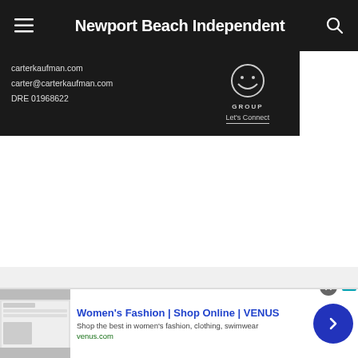Newport Beach Independent
[Figure (screenshot): Dark advertisement banner showing carterkaufman.com, carter@carterkaufman.com, DRE 01968622 and CK GROUP Let's Connect logo]
[Figure (screenshot): Bottom advertisement: Women's Fashion | Shop Online | VENUS - Shop the best in women's fashion, clothing, swimwear - venus.com]